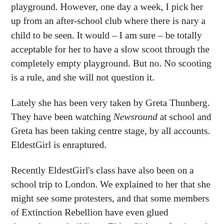playground. However, one day a week, I pick her up from an after-school club where there is nary a child to be seen. It would – I am sure – be totally acceptable for her to have a slow scoot through the completely empty playground. But no. No scooting is a rule, and she will not question it.
Lately she has been very taken by Greta Thunberg. They have been watching Newsround at school and Greta has been taking centre stage, by all accounts. EldestGirl is enraptured.
Recently EldestGirl's class have also been on a school trip to London. We explained to her that she might see some protesters, and that some members of Extinction Rebellion have even glued themselves to buildings. EldestGirl was fascinated.
Spurred on, no doubt, by this heady combination of Newsround and her monthly National Geographic Kids